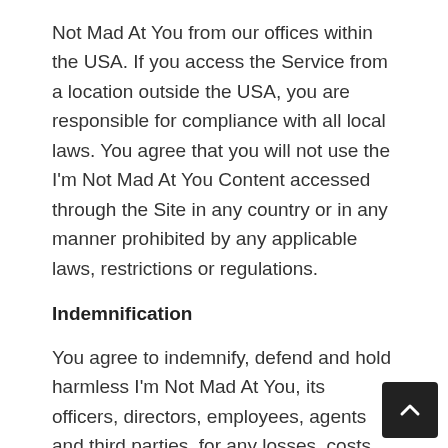Not Mad At You from our offices within the USA. If you access the Service from a location outside the USA, you are responsible for compliance with all local laws. You agree that you will not use the I'm Not Mad At You Content accessed through the Site in any country or in any manner prohibited by any applicable laws, restrictions or regulations.
Indemnification
You agree to indemnify, defend and hold harmless I'm Not Mad At You, its officers, directors, employees, agents and third parties, for any losses, costs, liabilities and expenses (including reasonable attorneys' fees) relating to or arising out of your use of or inability to use the Site or services, any user postings made by you, your violation of any terms of this Agreement or your violation of any rights of a third party, or your violation of any applicable laws, rules or regulations. I'm Not Mad At You reserves the right, at its own cost, to as the conduct defense or control of any matter otherwise the...